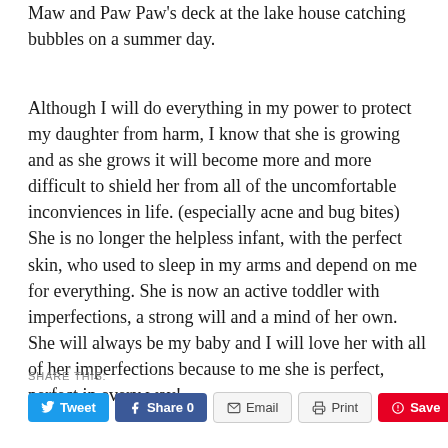Maw and Paw Paw's deck at the lake house catching bubbles on a summer day.
Although I will do everything in my power to protect my daughter from harm, I know that she is growing and as she grows it will become more and more difficult to shield her from all of the uncomfortable inconviences in life. (especially acne and bug bites) She is no longer the helpless infant, with the perfect skin, who used to sleep in my arms and depend on me for everything. She is now an active toddler with imperfections, a strong will and a mind of her own. She will always be my baby and I will love her with all of her imperfections because to me she is perfect, perfect in every way!
SHARE THIS: